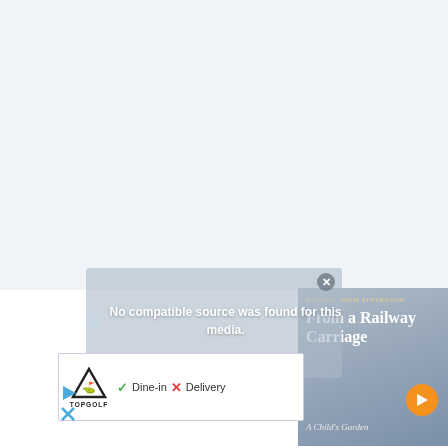[Figure (screenshot): White/light blue blank webpage area taking up the top portion of the screen]
[Figure (screenshot): Video player overlay showing 'No compatible source was found for this media.' message with a close button]
[Figure (screenshot): Advertisement banner for TopGolf showing logo, 'Dine-in' with checkmark and 'Delivery' with X mark]
[Figure (screenshot): Book cover overlay for 'From a Railway Carriage' by Robert Louis Stevenson with 'A Child's Garden' subtitle and navigation arrow]